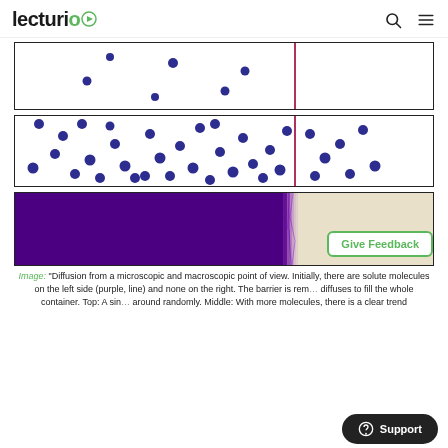Lecturio
[Figure (illustration): Top panel: white rectangle with a few blue dots on left side and a vertical pink/red line dividing left and right sections. Right side is empty.]
[Figure (illustration): Middle panel: white rectangle with many blue dots scattered across the left portion, fewer on the right, with a vertical pink/red dividing line.]
[Figure (illustration): Bottom panel: rectangle with solid purple fill on the left ~60% and beige/cream on the right, with a gradient/fuzzy transition at the dividing line.]
Image: "Diffusion from a microscopic and macroscopic point of view. Initially, there are solute molecules on the left side (purple, line) and none on the right. The barrier is removed, and the solute diffuses to fill the whole container. Top: A single molecule moves around randomly. Middle: With more molecules, there is a clear trend